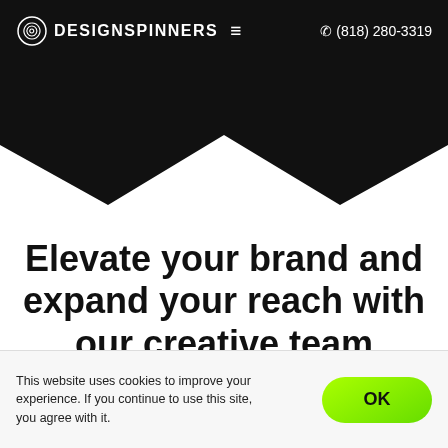DESIGNSPINNERS  (818) 280-3319
[Figure (illustration): Black header bar with zigzag/chevron shape pointing downward into white background]
Elevate your brand and expand your reach with our creative team
This website uses cookies to improve your experience. If you continue to use this site, you agree with it.